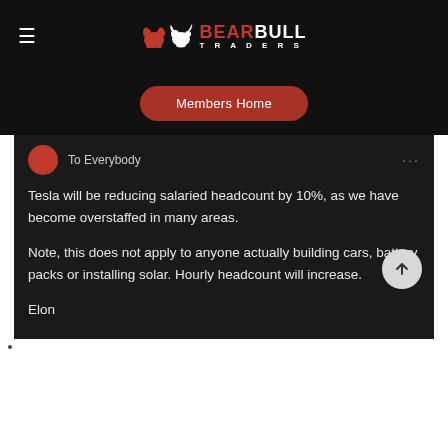Bear Bull Traders
Members Home
[Figure (screenshot): Chat message screenshot on dark background. Header shows 'To Everybody' with a red circle avatar and three dots menu. Body text reads: 'Tesla will be reducing salaried headcount by 10%, as we have become overstaffed in many areas.

Note, this does not apply to anyone actually building cars, battery packs or installing solar. Hourly headcount will increase.

Elon']